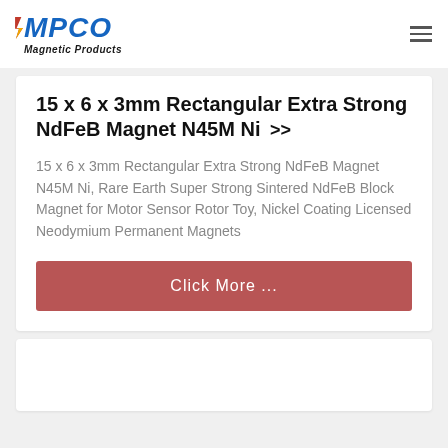CMPCO Magnetic Products
15 x 6 x 3mm Rectangular Extra Strong NdFeB Magnet N45M Ni >>
15 x 6 x 3mm Rectangular Extra Strong NdFeB Magnet N45M Ni, Rare Earth Super Strong Sintered NdFeB Block Magnet for Motor Sensor Rotor Toy, Nickel Coating Licensed Neodymium Permanent Magnets
Click More ...